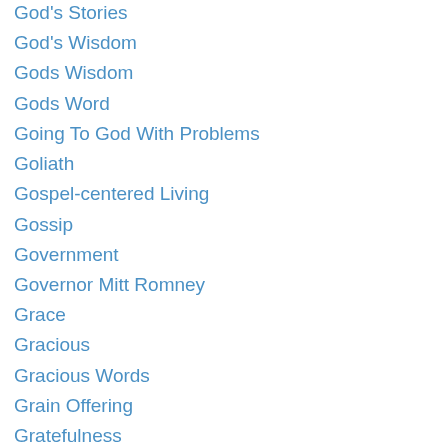God's Stories
God's Wisdom
Gods Wisdom
Gods Word
Going To God With Problems
Goliath
Gospel-centered Living
Gossip
Government
Governor Mitt Romney
Grace
Gracious
Gracious Words
Grain Offering
Gratefulness
Graven Hands
Greatness Of God
Groaning
Gun Violence
Hardship
Hard Work